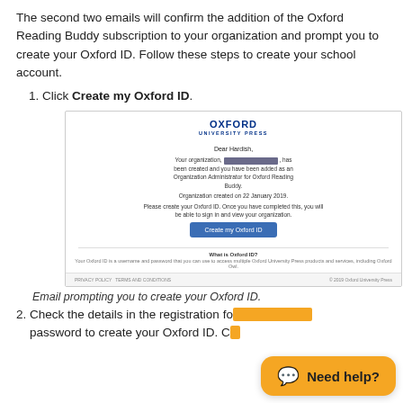The second two emails will confirm the addition of the Oxford Reading Buddy subscription to your organization and prompt you to create your Oxford ID. Follow these steps to create your school account.
1. Click Create my Oxford ID.
[Figure (screenshot): Screenshot of an Oxford University Press email addressed to 'Dear Hardish,' stating that the organization has been created and the user has been added as an Organization Administrator for Oxford Reading Buddy. Includes a 'Create my Oxford ID' button and a 'What is Oxford ID?' section in the footer.]
Email prompting you to create your Oxford ID.
2. Check the details in the registration form and enter a password to create your Oxford ID. C